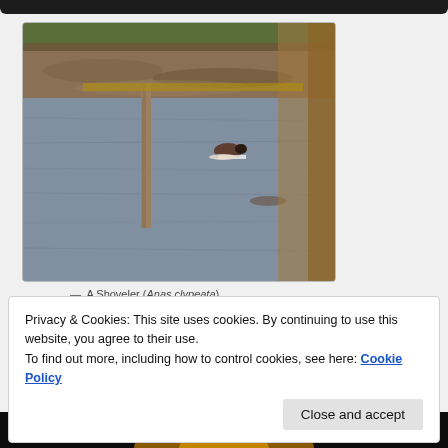[Figure (photo): A Shoveler duck (Anas clypeata) swimming on water viewed through a hide or blind, with mudflats and green vegetation in the background. A wooden post is visible in the water. The right side of the image is partially obscured by a blurred foreground element (possibly a wooden fence post).]
— A Shoveler (Anas clypeata)
Privacy & Cookies: This site uses cookies. By continuing to use this website, you agree to their use.
To find out more, including how to control cookies, see here: Cookie Policy
[Figure (photo): Partial view of another photo at the bottom of the page, showing a dark background with an orange/golden glow, likely a sunset or bird photograph.]